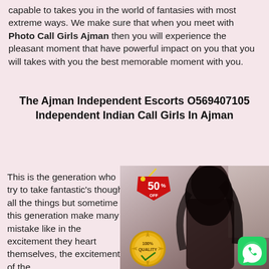capable to takes you in the world of fantasies with most extreme ways. We make sure that when you meet with Photo Call Girls Ajman then you will experience the pleasant moment that have powerful impact on you that you will takes with you the best memorable moment with you.
The Ajman Independent Escorts O569407105 Independent Indian Call Girls In Ajman
This is the generation who try to take fantastic's though all the things but sometime this generation make many mistake like in the excitement they heart themselves, the excitement of the
[Figure (photo): Photo of a woman with dark curly hair wearing a dark outfit, with a red '50% OFF' price tag overlay in the upper area and a gold '100% QUALITY' badge in the lower left, and a green WhatsApp icon in the lower right corner.]